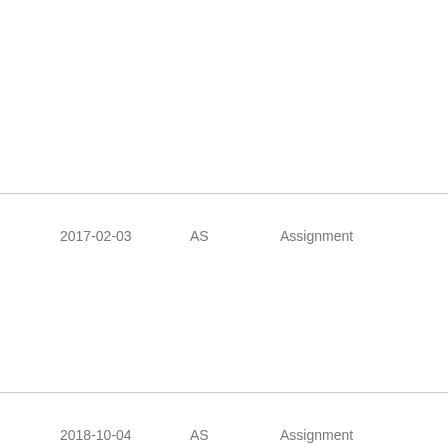| Date | Code | Type |
| --- | --- | --- |
| 2017-02-03 | AS | Assignment |
| 2018-10-04 | AS | Assignment |